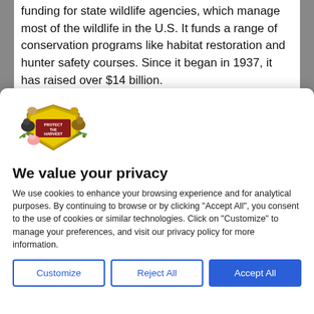funding for state wildlife agencies, which manage most of the wildlife in the U.S. It funds a range of conservation programs like habitat restoration and hunter safety courses. Since it began in 1937, it has raised over $14 billion.
[Figure (logo): Protect the Harvest logo — a golden shield with farm animals (cow, horse, pig, chicken, dog) surrounding it, with the text 'PROTECT THE HARVEST' on the shield]
We value your privacy
We use cookies to enhance your browsing experience and for analytical purposes. By continuing to browse or by clicking "Accept All", you consent to the use of cookies or similar technologies. Click on "Customize" to manage your preferences, and visit our privacy policy for more information.